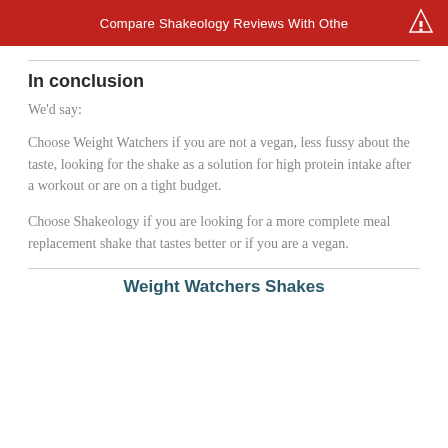Compare Shakeology Reviews With Other
In conclusion
We'd say:
Choose Weight Watchers if you are not a vegan, less fussy about the taste, looking for the shake as a solution for high protein intake after a workout or are on a tight budget.
Choose Shakeology if you are looking for a more complete meal replacement shake that tastes better or if you are a vegan.
Weight Watchers Shakes